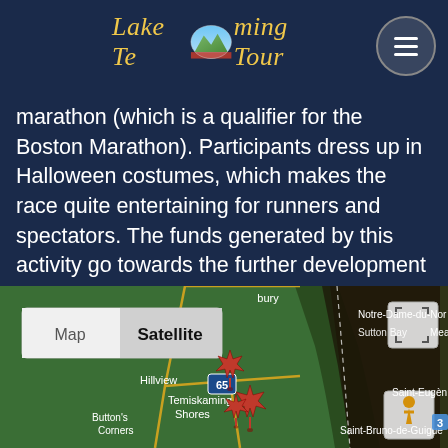Lake Temiskaming Tour
marathon (which is a qualifier for the Boston Marathon). Participants dress up in Halloween costumes, which makes the race quite entertaining for runners and spectators. The funds generated by this activity go towards the further development of the STATO trail, which connects the communities of New Liskeard, Haileybury and North Cobalt.
[Figure (map): Google Maps satellite view showing Temiskaming Shores area with red map markers, showing locations including Hillview, Temiskaming Shores, Button's Corners, Sutton Bay, Notre-Dame-du-Nord, Meaux, Saint-Eugène, Saint-Bruno-de-Guigues. Map/Satellite toggle buttons visible at top left. Route 65 marker visible.]